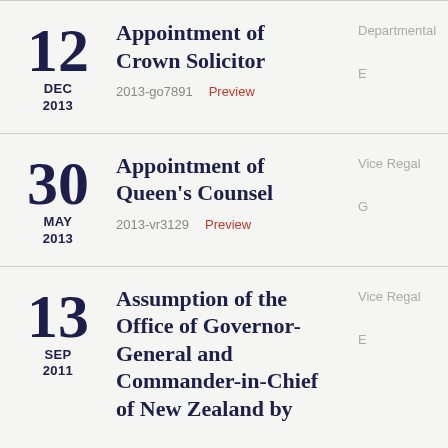12 DEC 2013 — Appointment of Crown Solicitor — 2013-go7891 — Departmental
30 MAY 2013 — Appointment of Queen's Counsel — 2013-vr3129 — Vice Regal
13 SEP 2011 — Assumption of the Office of Governor-General and Commander-in-Chief of New Zealand by — Vice Regal